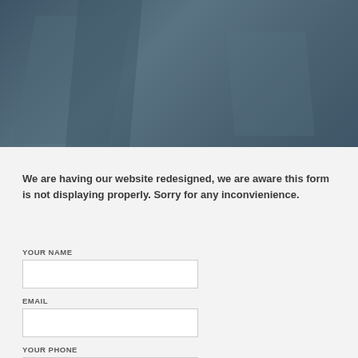[Figure (photo): Dark teal/slate colored hero image area at the top of the page, appears to show a blurred/abstract background]
We are having our website redesigned, we are aware this form is not displaying properly. Sorry for any inconvienience.
YOUR NAME
EMAIL
YOUR PHONE